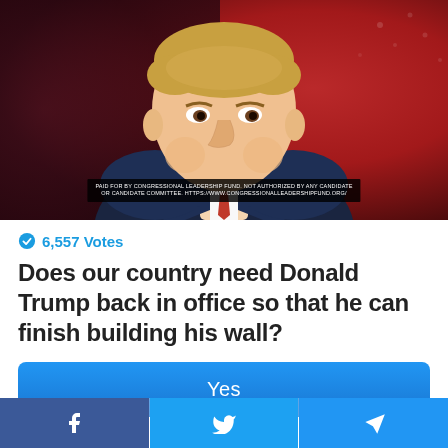[Figure (photo): Photo of Donald Trump in a dark navy suit with red tie against a red and dark background with American flag elements. A disclaimer banner reads: PAID FOR BY CONGRESSIONAL LEADERSHIP FUND. NOT AUTHORIZED BY ANY CANDIDATE OR CANDIDATE COMMITTEE. HTTPS://WWW.CONGRESSIONALLEADERSHIPFUND.ORG/]
6,557 Votes
Does our country need Donald Trump back in office so that he can finish building his wall?
Yes
[Figure (infographic): Social share bar with Facebook, Twitter, and Telegram icons]